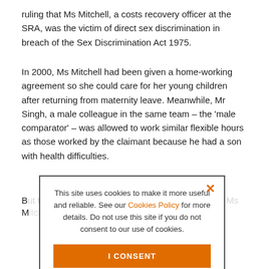ruling that Ms Mitchell, a costs recovery officer at the SRA, was the victim of direct sex discrimination in breach of the Sex Discrimination Act 1975.
In 2000, Ms Mitchell had been given a home-working agreement so she could care for her young children after returning from maternity leave. Meanwhile, Mr Singh, a male colleague in the same team – the ‘male comparator’ – was allowed to work similar flexible hours as those worked by the claimant because he had a son with health difficulties.
B… M… a… M… w… di…
Th… se… au… it…
[Figure (other): Cookie consent modal dialog. Text: 'This site uses cookies to make it more useful and reliable. See our Cookies Policy for more details. Do not use this site if you do not consent to our use of cookies.' Buttons: 'I CONSENT' (orange filled) and 'SEE COOKIE POLICY' (orange outline). Close button (x) in top right corner.]